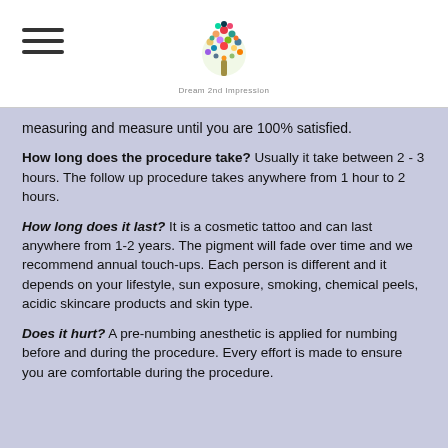[Logo: Dream 2nd Impression]
measuring and measure until you are 100% satisfied.
How long does the procedure take? Usually it take between 2 - 3 hours. The follow up procedure takes anywhere from 1 hour to 2 hours.
How long does it last? It is a cosmetic tattoo and can last anywhere from 1-2 years. The pigment will fade over time and we recommend annual touch-ups. Each person is different and it depends on your lifestyle, sun exposure, smoking, chemical peels, acidic skincare products and skin type.
Does it hurt? A pre-numbing anesthetic is applied for numbing before and during the procedure. Every effort is made to ensure you are comfortable during the procedure.